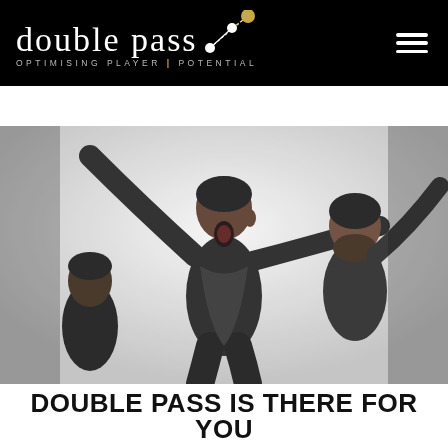double pass — OPTIMISING PLAYER | POTENTIAL
[Figure (photo): Black and white photograph of celebrating football/soccer players, one with arms raised wide and mouth open in joy, another smiling to the right]
DOUBLE PASS IS THERE FOR YOU